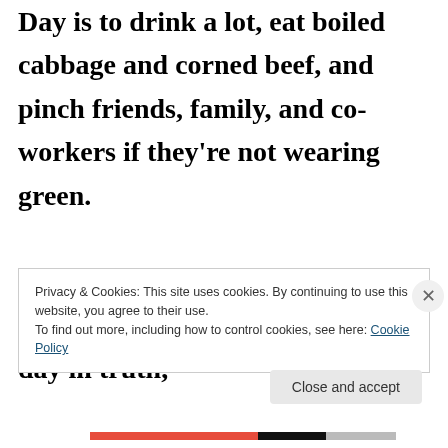Day is to drink a lot, eat boiled cabbage and corned beef, and pinch friends, family, and co-workers if they're not wearing green.

  I don't like wearing green on Saint Patrick's Day, or any other day in truth,
Privacy & Cookies: This site uses cookies. By continuing to use this website, you agree to their use.
To find out more, including how to control cookies, see here: Cookie Policy
Close and accept